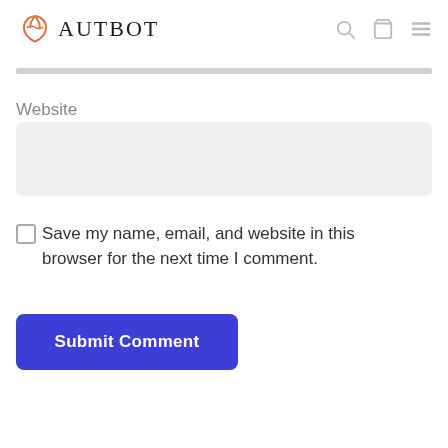AUTBOT
Website
Save my name, email, and website in this browser for the next time I comment.
Submit Comment